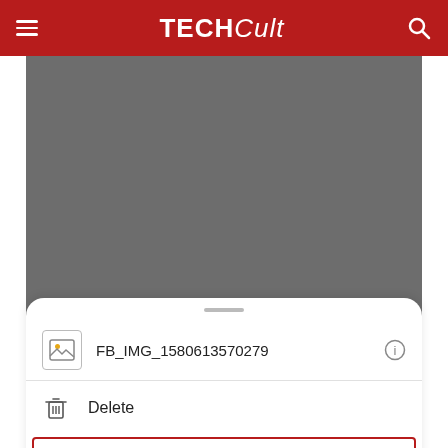TECHCult
[Figure (screenshot): Dark gray screenshot area of a mobile app showing a bottom action sheet with file name FB_IMG_1580613570279, Delete option, and Restore option highlighted with red border]
FB_IMG_1580613570279
Delete
Restore